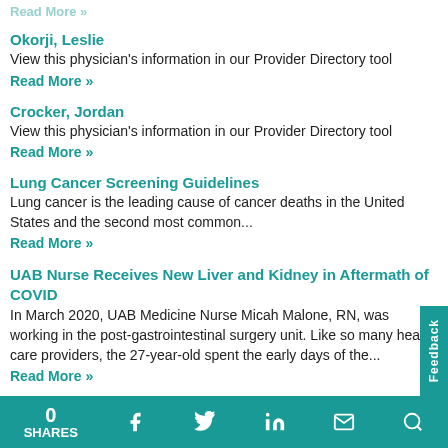Okorji, Leslie
View this physician's information in our Provider Directory tool
Read More »
Crocker, Jordan
View this physician's information in our Provider Directory tool
Read More »
Lung Cancer Screening Guidelines
Lung cancer is the leading cause of cancer deaths in the United States and the second most common...
Read More »
UAB Nurse Receives New Liver and Kidney in Aftermath of COVID
In March 2020, UAB Medicine Nurse Micah Malone, RN, was working in the post-gastrointestinal surgery unit. Like so many health care providers, the 27-year-old spent the early days of the...
Read More »
0 SHARES | Facebook | Twitter | LinkedIn | Email | Search